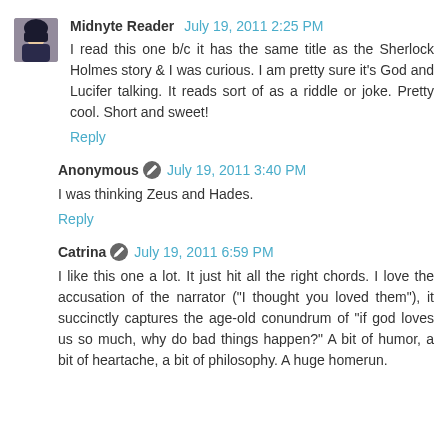[Figure (photo): Small avatar photo of Midnyte Reader, a person with dark hair]
Midnyte Reader July 19, 2011 2:25 PM
I read this one b/c it has the same title as the Sherlock Holmes story & I was curious. I am pretty sure it's God and Lucifer talking. It reads sort of as a riddle or joke. Pretty cool. Short and sweet!
Reply
Anonymous July 19, 2011 3:40 PM
I was thinking Zeus and Hades.
Reply
Catrina July 19, 2011 6:59 PM
I like this one a lot. It just hit all the right chords. I love the accusation of the narrator ("I thought you loved them"), it succinctly captures the age-old conundrum of "if god loves us so much, why do bad things happen?" A bit of humor, a bit of heartache, a bit of philosophy. A huge homerun.